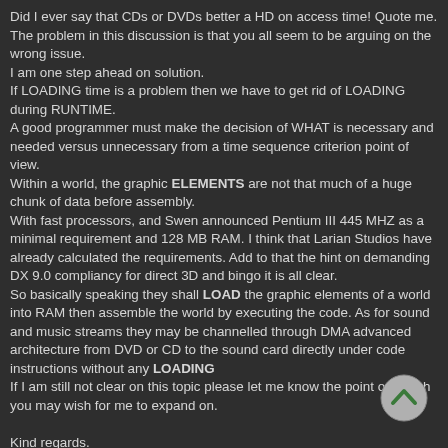Did I ever say that CDs or DVDs better a HD on access time! Quote me. The problem in this discussion is that you all seem to be arguing on the wrong issue.
I am one step ahead on solution.
If LOADING time is a problem then we have to get rid of LOADING during RUNTIME.
A good programmer must make the decision of WHAT is necessary and needed versus unnecessary from a time sequence criterion point of view.
Within a world, the graphic ELEMENTS are not that much of a huge chunk of data before assembly.
With fast processors, and Swen announced Pentium III 445 MHZ as a minimal requirement and 128 MB RAM. I think that Larian Studios have already calculated the requirements. Add to that the hint on demanding DX 9.0 compliancy for direct 3D and bingo it is all clear.
So basically speaking they shall LOAD the graphic elements of a world into RAM then assemble the world by executing the code. As for sound and music streams they may be channelled through DMA advanced architecture from DVD or CD to the sound card directly under code instructions without any LOADING
If I am still not clear on this topic please let me know the point on which you may wish for me to expand on.

Kind regards.